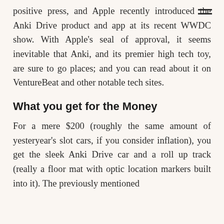positive press, and Apple recently introduced the Anki Drive product and app at its recent WWDC show. With Apple's seal of approval, it seems inevitable that Anki, and its premier high tech toy, are sure to go places; and you can read about it on VentureBeat and other notable tech sites.
What you get for the Money
For a mere $200 (roughly the same amount of yesteryear's slot cars, if you consider inflation), you get the sleek Anki Drive car and a roll up track (really a floor mat with optic location markers built into it). The previously mentioned